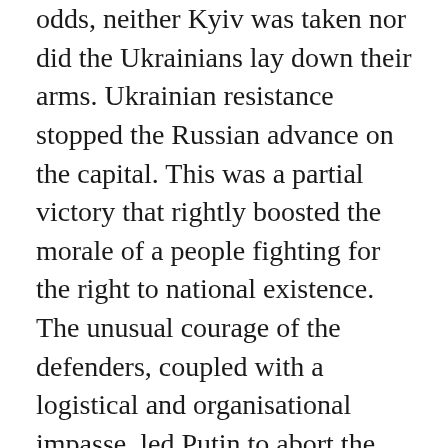odds, neither Kyiv was taken nor did the Ukrainians lay down their arms. Ukrainian resistance stopped the Russian advance on the capital. This was a partial victory that rightly boosted the morale of a people fighting for the right to national existence. The unusual courage of the defenders, coupled with a logistical and organisational impasse, led Putin to abort the siege of the Ukrainian capital. At the end of the first month of the war, Russian troops in the north-west retreated into Belarus and those in the north into their own country. Moscow announced a shift in its strategy to focus its efforts on "liberating" the Don...